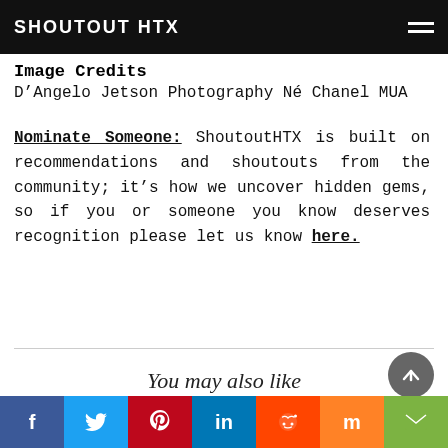SHOUTOUT HTX
Image Credits
D'Angelo Jetson Photography Né Chanel MUA
Nominate Someone: ShoutoutHTX is built on recommendations and shoutouts from the community; it's how we uncover hidden gems, so if you or someone you know deserves recognition please let us know here.
You may also like
[Figure (infographic): Social media share buttons bar at bottom: Facebook (blue), Twitter (light blue), Pinterest (red), LinkedIn (dark blue), Reddit (orange), Mix (orange), Email (green)]